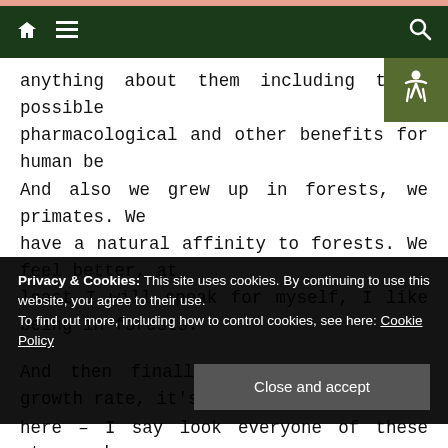Navigation bar with home and menu icons (left) and search icon (right)
anything about them including their possible pharmacological and other benefits for human be... And also we grew up in forests, we primates. We have a natural affinity to forests. We feel better, at least I will speak for myself, I like being in forests.
And then finally, on the population growth rate, it's very clear – I don't have to go through it for this audience – how important that is for the future stability, political and economic, food stuffs, and everything else of the planet even apart from the e... s... u... w...
here – I say look everyone of these steps makes
Privacy & Cookies: This site uses cookies. By continuing to use this website, you agree to their use. To find out more, including how to control cookies, see here: Cookie Policy
Close and accept